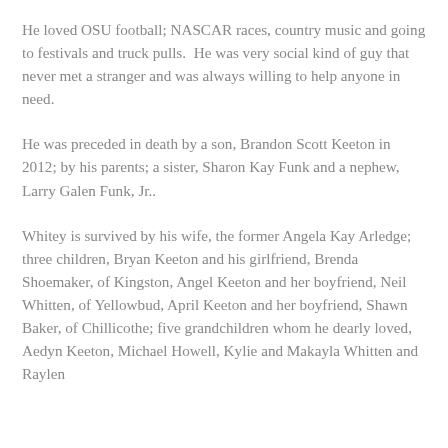He loved OSU football; NASCAR races, country music and going to festivals and truck pulls.  He was very social kind of guy that never met a stranger and was always willing to help anyone in need.
He was preceded in death by a son, Brandon Scott Keeton in 2012; by his parents; a sister, Sharon Kay Funk and a nephew, Larry Galen Funk, Jr..
Whitey is survived by his wife, the former Angela Kay Arledge; three children, Bryan Keeton and his girlfriend, Brenda Shoemaker, of Kingston, Angel Keeton and her boyfriend, Neil Whitten, of Yellowbud, April Keeton and her boyfriend, Shawn Baker, of Chillicothe; five grandchildren whom he dearly loved, Aedyn Keeton, Michael Howell, Kylie and Makayla Whitten and Raylen